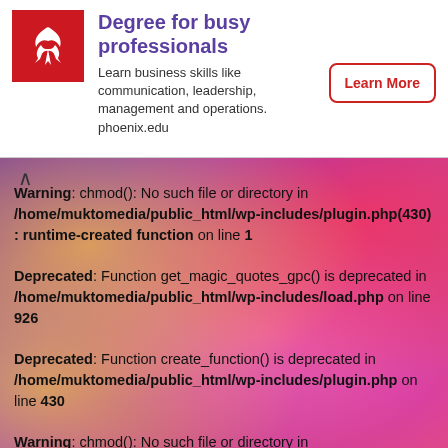[Figure (other): University of Phoenix advertisement banner with red phoenix logo, title 'Degree for busy professionals', description text, and Learn More button]
Warning: chmod(): No such file or directory in /home/muktomedia/public_html/wp-includes/plugin.php(430) : runtime-created function on line 1
Deprecated: Function get_magic_quotes_gpc() is deprecated in /home/muktomedia/public_html/wp-includes/load.php on line 926
Deprecated: Function create_function() is deprecated in /home/muktomedia/public_html/wp-includes/plugin.php on line 430
Warning: chmod(): No such file or directory in /home/muktomedia/public_html/wp-includes/plugin.php(430) : runtime-created function on line 1
Deprecated: Function create_function() is deprecated in /home/muktomedia/public_html/wp-includes/plugin.php on line